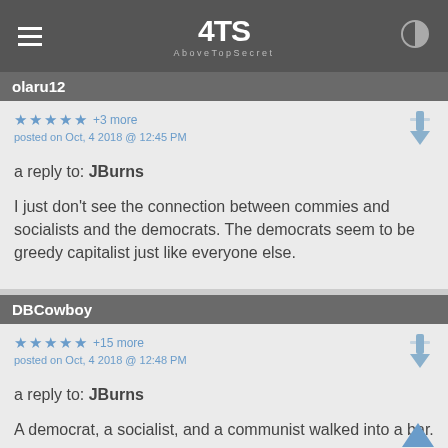ATS AboveTopSecret
olaru12
★ ★ ★ ★ ★ +3 more
posted on Oct, 4 2018 @ 12:45 PM
a reply to: JBurns
I just don't see the connection between commies and socialists and the democrats. The democrats seem to be greedy capitalist just like everyone else.
DBCowboy
★ ★ ★ ★ ★ +15 more
posted on Oct, 4 2018 @ 12:48 PM
a reply to: JBurns
A democrat, a socialist, and a communist walked into a bar.